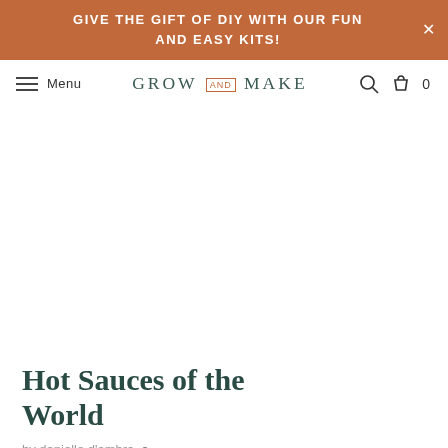GIVE THE GIFT OF DIY WITH OUR FUN AND EASY KITS!
Menu | GROW AND MAKE | 0
[Figure (illustration): Large blank white content/image area in the center of the page]
Hot Sauces of the World
by danielle d'ambra •